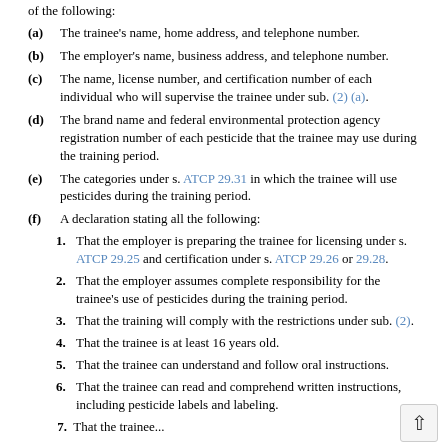of the following:
(a) The trainee's name, home address, and telephone number.
(b) The employer's name, business address, and telephone number.
(c) The name, license number, and certification number of each individual who will supervise the trainee under sub. (2) (a).
(d) The brand name and federal environmental protection agency registration number of each pesticide that the trainee may use during the training period.
(e) The categories under s. ATCP 29.31 in which the trainee will use pesticides during the training period.
(f) A declaration stating all the following:
1. That the employer is preparing the trainee for licensing under s. ATCP 29.25 and certification under s. ATCP 29.26 or 29.28.
2. That the employer assumes complete responsibility for the trainee's use of pesticides during the training period.
3. That the training will comply with the restrictions under sub. (2).
4. That the trainee is at least 16 years old.
5. That the trainee can understand and follow oral instructions.
6. That the trainee can read and comprehend written instructions, including pesticide labels and labeling.
7. That the trainee...